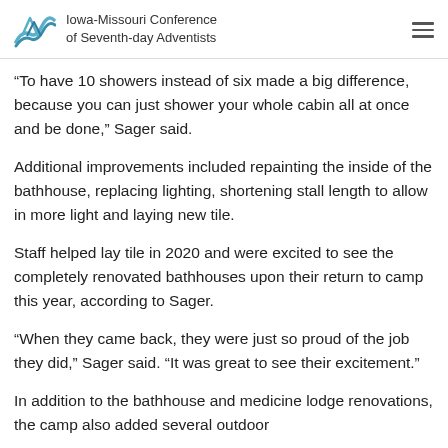Iowa-Missouri Conference of Seventh-day Adventists
“To have 10 showers instead of six made a big difference, because you can just shower your whole cabin all at once and be done,” Sager said.
Additional improvements included repainting the inside of the bathhouse, replacing lighting, shortening stall length to allow in more light and laying new tile.
Staff helped lay tile in 2020 and were excited to see the completely renovated bathhouses upon their return to camp this year, according to Sager.
“When they came back, they were just so proud of the job they did,” Sager said. “It was great to see their excitement.”
In addition to the bathhouse and medicine lodge renovations, the camp also added several outdoor